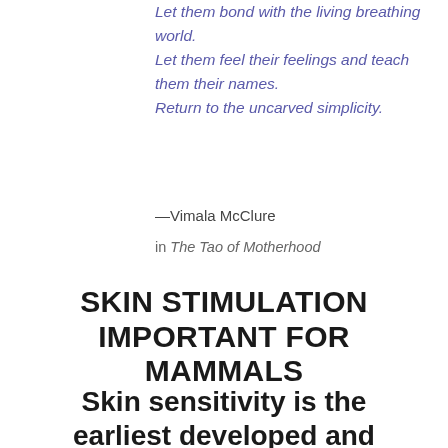Let them bond with the living breathing world.
Let them feel their feelings and teach them their names.
Return to the uncarved simplicity.
—Vimala McClure
in The Tao of Motherhood
SKIN STIMULATION IMPORTANT FOR MAMMALS
Skin sensitivity is the earliest developed and